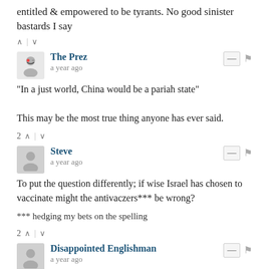entitled & empowered to be tyrants. No good sinister bastards I say
2 ↑ | ↓
The Prez • a year ago
"In a just world, China would be a pariah state"

This may be the most true thing anyone has ever said.
2 ↑ | ↓
Steve • a year ago
To put the question differently; if wise Israel has chosen to vaccinate might the antivaczers*** be wrong?

*** hedging my bets on the spelling
2 ↑ | ↓
Disappointed Englishman • a year ago
Very brave country. It takes real bravery to take on unarmed schoolchildren in the West Bank and shoot them dead. Give